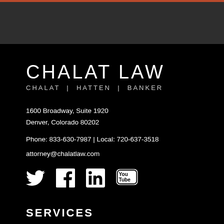[Figure (other): Dark gray header bar with orange/red horizontal line at top]
CHALAT LAW
CHALAT | HATTEN | BANKER
1600 Broadway, Suite 1920
Denver, Colorado 80202
Phone: 833-630-7987 | Local: 720-637-3518
attorney@chalatlaw.com
[Figure (other): Social media icons: Twitter, Facebook, LinkedIn, YouTube]
SERVICES
Motor Vehicle